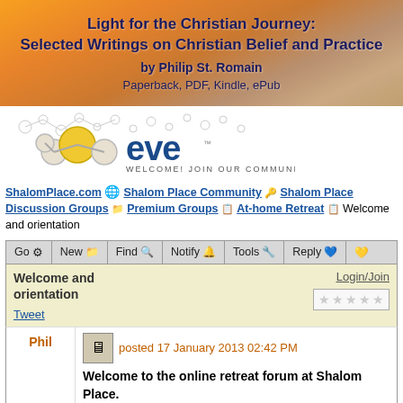[Figure (illustration): Banner image for 'Light for the Christian Journey: Selected Writings on Christian Belief and Practice by Philip St. Romain. Paperback, PDF, Kindle, ePub'. Warm sunset background with orange and golden tones.]
[Figure (logo): Eve community logo with golden molecule graphic and text 'eve WELCOME! JOIN OUR COMMUNITY']
ShalomPlace.com · Shalom Place Community · Shalom Place Discussion Groups · Premium Groups · At-home Retreat · Welcome and orientation
[Figure (screenshot): Forum toolbar with buttons: Go, New, Find, Notify, Tools, Reply, and an arrow icon]
Welcome and orientation
Login/Join
Tweet
Phil
posted 17 January 2013 02:42 PM
Welcome to the online retreat forum at Shalom Place.
questions, comments and experiences may be